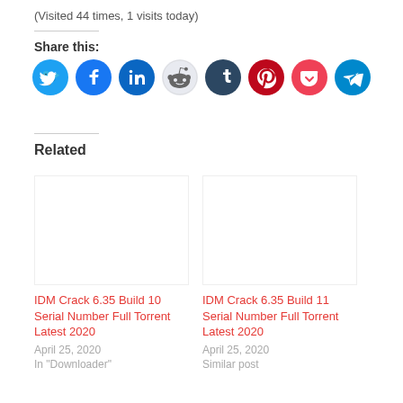(Visited 44 times, 1 visits today)
Share this:
[Figure (infographic): Row of social share icon circles: Twitter, Facebook, LinkedIn, Reddit, Tumblr, Pinterest, Pocket, Telegram]
Related
IDM Crack 6.35 Build 10 Serial Number Full Torrent Latest 2020
April 25, 2020
In "Downloader"
IDM Crack 6.35 Build 11 Serial Number Full Torrent Latest 2020
April 25, 2020
Similar post